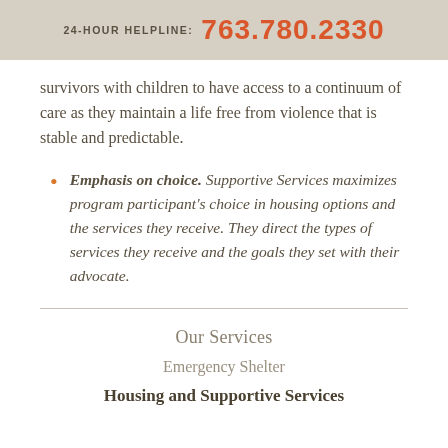24-HOUR HELPLINE: 763.780.2330
survivors with children to have access to a continuum of care as they maintain a life free from violence that is stable and predictable.
Emphasis on choice. Supportive Services maximizes program participant's choice in housing options and the services they receive. They direct the types of services they receive and the goals they set with their advocate.
Our Services
Emergency Shelter
Housing and Supportive Services